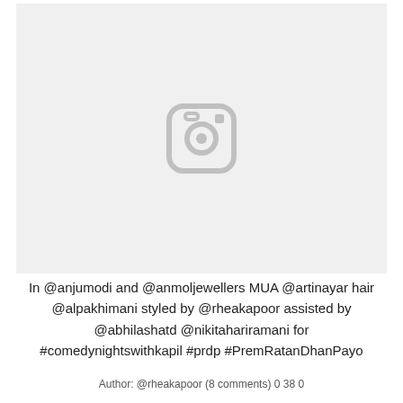[Figure (other): Instagram placeholder image with camera/instagram icon centered on light gray background]
In @anjumodi and @anmoljewellers MUA @artinayar hair @alpakhimani styled by @rheakapoor assisted by @abhilashatd @nikitahariramani for #comedynightswithkapil #prdp #PremRatanDhanPayo
Author: @rheakapoor (8 comments) 0 38 0